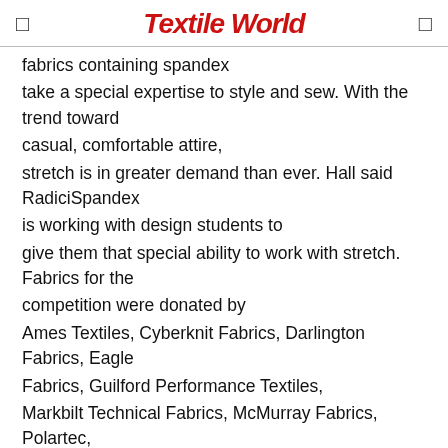Textile World
fabrics containing spandex take a special expertise to style and sew. With the trend toward casual, comfortable attire, stretch is in greater demand than ever. Hall said RadiciSpandex is working with design students to give them that special ability to work with stretch. Fabrics for the competition were donated by Ames Textiles, Cyberknit Fabrics, Darlington Fabrics, Eagle Fabrics, Guilford Performance Textiles, Markbilt Technical Fabrics, McMurray Fabrics, Polartec, Prescott Finishing, Rentex, Royal Lace, Sextet Fabrics, Swisstex, TDB Tecidos and Tweave LLC.
After winners are selected by the judging panel, an overall Grand Prize winner is chosen